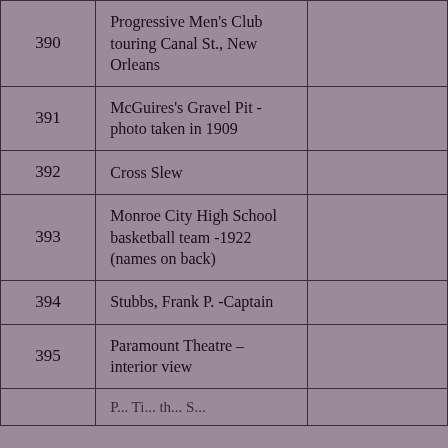| # | Description |  |
| --- | --- | --- |
| 390 | Progressive Men's Club touring Canal St., New Orleans |  |
| 391 | McGuires's Gravel Pit - photo taken in 1909 |  |
| 392 | Cross Slew |  |
| 393 | Monroe City High School basketball team -1922  (names on back) |  |
| 394 | Stubbs, Frank P. -Captain |  |
| 395 | Paramount Theatre – interior view |  |
|  | P... Ti... th... S... |  |